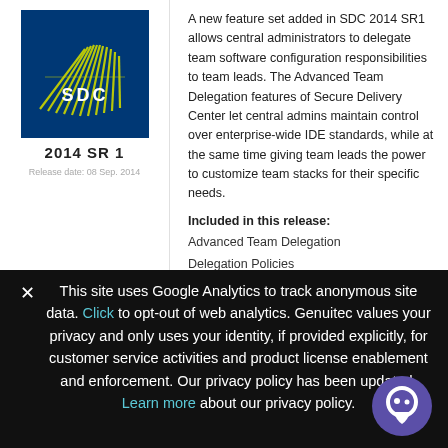[Figure (logo): SDC logo - blue square with yellow/green radiating lines and 'SDC' text]
2014 SR1
Release date: 08 Sep. 2014
A new feature set added in SDC 2014 SR1 allows central administrators to delegate team software configuration responsibilities to team leads. The Advanced Team Delegation features of Secure Delivery Center let central admins maintain control over enterprise-wide IDE standards, while at the same time giving team leads the power to customize team stacks for their specific needs.
Included in this release:
Advanced Team Delegation
Delegation Policies
Global Settings
✕  This site uses Google Analytics to track anonymous site data. Click to opt-out of web analytics. Genuitec values your privacy and only uses your identity, if provided explicitly, for customer service activities and product license enablement and enforcement. Our privacy policy has been updated. Learn more about our privacy policy.